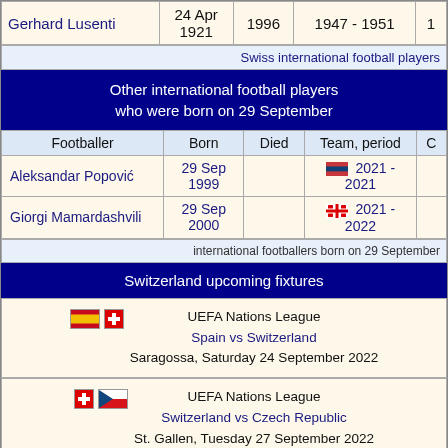| Footballer | Born | Died | Team, period | C |
| --- | --- | --- | --- | --- |
| Gerhard Lusenti | 24 Apr 1921 | 1996 | 1947 - 1951 | 1 |
Swiss international football players
Other international football players who were born on 29 September
| Footballer | Born | Died | Team, period | C |
| --- | --- | --- | --- | --- |
| Aleksandar Popović | 29 Sep 1999 |  | [Serbia] 2021 - 2021 |  |
| Giorgi Mamardashvili | 29 Sep 2000 |  | [Georgia] 2021 - 2022 |  |
international footballers born on 29 September
Switzerland upcoming fixtures
| [Spain] [Swiss] UEFA Nations League
Spain vs Switzerland
Saragossa, Saturday 24 September 2022 |
| [Swiss] [Czech] UEFA Nations League
Switzerland vs Czech Republic
St. Gallen, Tuesday 27 September 2022 |